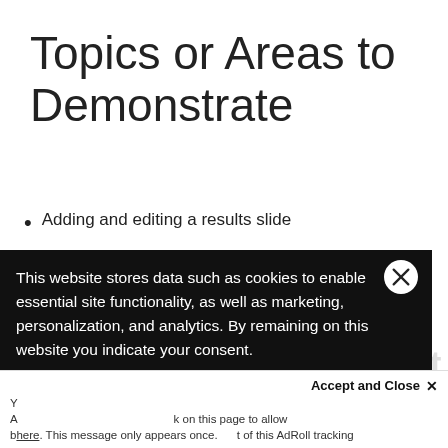Topics or Areas to Demonstrate
Adding and editing a results slide
[partial] ...results slide
[partial] ...vout of the
[Figure (screenshot): Cookie consent overlay with text: 'This website stores data such as cookies to enable essential site functionality, as well as marketing, personalization, and analytics. By remaining on this website you indicate your consent.' with a Privacy Notice link and a close button.]
[Figure (screenshot): AdRoll tracking accept bar at bottom: 'Accept and Close x' with text about allowing AdRoll tracking on this page.]
Record Your Screencast (watermark/background text)